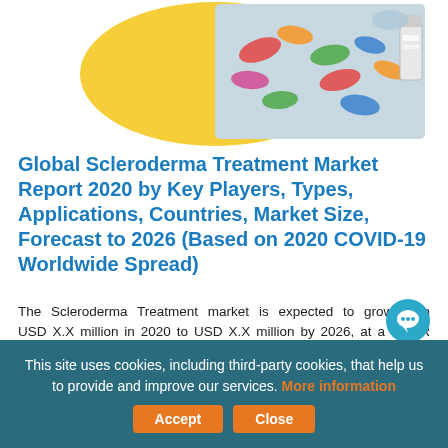[Figure (photo): Header image showing pharmaceutical pills and capsules with a yellow circular graphic element on the left side]
Global Scleroderma Treatment Market Report 2020 by Key Players, Types, Applications, Countries, Market Size, Forecast to 2026 (Based on 2020 COVID-19 Worldwide Spread)
The Scleroderma Treatment market is expected to grow from USD X.X million in 2020 to USD X.X million by 2026, at a CAGR of X.X% during the forecast period. The global Scleroderma Treatment market repo
Published - Oct 2020   |   Price - from $3400
This site uses cookies, including third-party cookies, that help us to provide and improve our services. More information